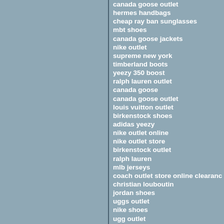canada goose outlet
hermes handbags
cheap ray ban sunglasses
mbt shoes
canada goose jackets
nike outlet
supreme new york
timberland boots
yeezy 350 boost
ralph lauren outlet
canada goose
canada goose outlet
louis vuitton outlet
birkenstock shoes
adidas yeezy
nike outlet online
nike outlet store
birkenstock outlet
ralph lauren
mlb jerseys
coach outlet store online clearance
christian louboutin
jordan shoes
uggs outlet
nike shoes
ugg outlet
ugg boots
christian louboutin outlet
ugg boots